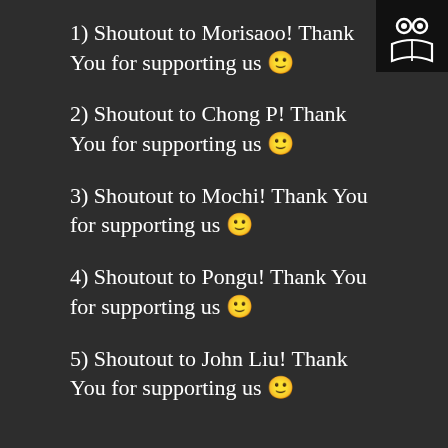[Figure (logo): Black square logo with white owl eyes and open book icon]
1) Shoutout to Morisaoo! Thank You for supporting us 🙂
2) Shoutout to Chong P! Thank You for supporting us 🙂
3) Shoutout to Mochi! Thank You for supporting us 🙂
4) Shoutout to Pongu! Thank You for supporting us 🙂
5) Shoutout to John Liu! Thank You for supporting us 🙂